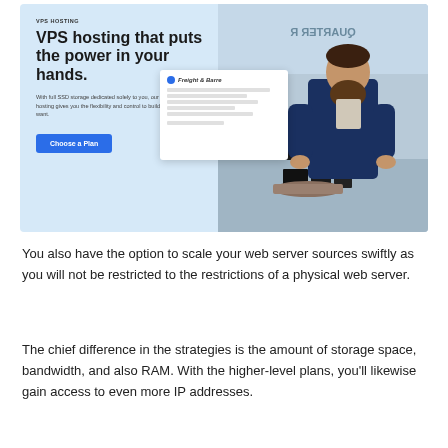[Figure (screenshot): A promotional banner for VPS Hosting showing a light blue background on the left with headline 'VPS hosting that puts the power in your hands.' and a 'Choose a Plan' button, and a photo of a bearded man looking at packaged goods on the right, plus a floating white card overlay showing 'Freight & Barre' branding.]
You also have the option to scale your web server sources swiftly as you will not be restricted to the restrictions of a physical web server.
The chief difference in the strategies is the amount of storage space, bandwidth, and also RAM. With the higher-level plans, you'll likewise gain access to even more IP addresses.